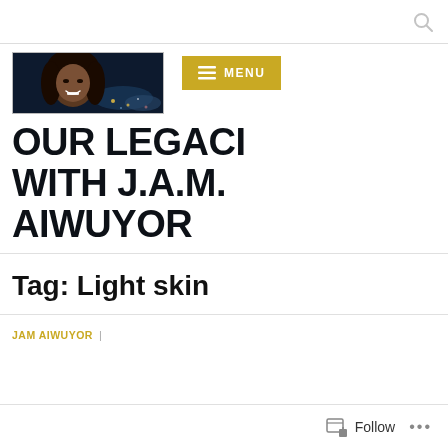[Figure (photo): Banner photo of a smiling Black woman with braids against a night city skyline background]
[Figure (other): MENU button with hamburger icon, gold/yellow background]
OUR LEGACI WITH J.A.M. AIWUYOR
Tag: Light skin
JAM AIWUYOR  |
Follow  ...